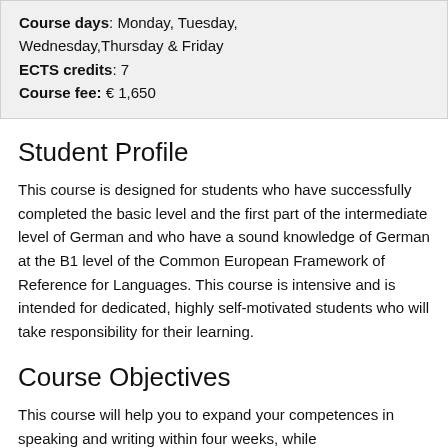Course days: Monday, Tuesday, Wednesday,Thursday & Friday
ECTS credits: 7
Course fee: € 1,650
Student Profile
This course is designed for students who have successfully completed the basic level and the first part of the intermediate level of German and who have a sound knowledge of German at the B1 level of the Common European Framework of Reference for Languages. This course is intensive and is intended for dedicated, highly self-motivated students who will take responsibility for their learning.
Course Objectives
This course will help you to expand your competences in speaking and writing within four weeks, while